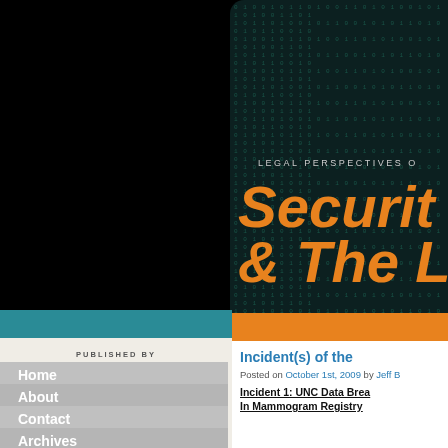[Figure (screenshot): Website screenshot of a legal blog published by Foley Hoag LLP, showing navigation menu on left (Home, About, Contact, Archives, Year In Preview Series), Foley Hoag LLP logo and 'Published By' text, and a right panel with dark digital/binary background featuring orange headline text 'Security & The...' with 'LEGAL PERSPECTIVES C...' subtitle. Below is a blog post titled 'Incident(s) of the...' posted October 1st, 2009 by Jeff, with subheading 'Incident 1: UNC Data Breach In Mammogram Registry'.]